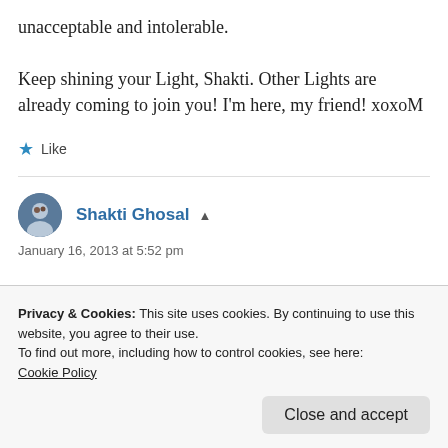unacceptable and intolerable.
Keep shining your Light, Shakti. Other Lights are already coming to join you! I’m here, my friend! xoxoM
★ Like
Shakti Ghosal ▲
January 16, 2013 at 5:52 pm
Privacy & Cookies: This site uses cookies. By continuing to use this website, you agree to their use.
To find out more, including how to control cookies, see here: Cookie Policy
Close and accept